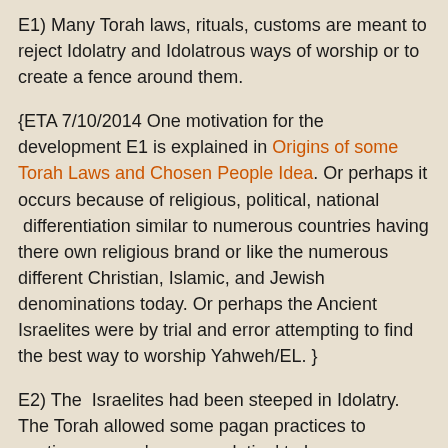E1) Many Torah laws, rituals, customs are meant to reject Idolatry and Idolatrous ways of worship or to create a fence around them.
{ETA 7/10/2014 One motivation for the development E1 is explained in Origins of some Torah Laws and Chosen People Idea. Or perhaps it occurs because of religious, political, national  differentiation similar to numerous countries having there own religious brand or like the numerous different Christian, Islamic, and Jewish denominations today. Or perhaps the Ancient Israelites were by trial and error attempting to find the best way to worship Yahweh/EL. }
E2) The  Israelites had been steeped in Idolatry. The Torah allowed some pagan practices to continue  as an 'accommodation' to human weakness, but they are rededicated to the worship of Yahweh.
(Rambam also offers other reasons for certain